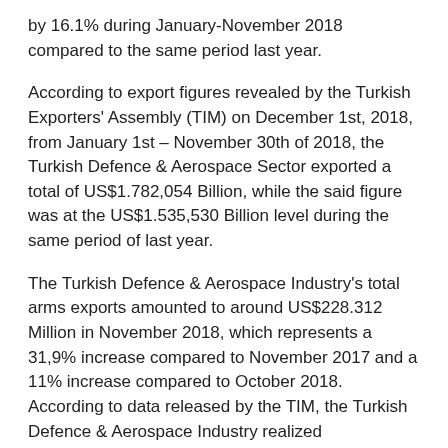by 16.1% during January-November 2018 compared to the same period last year.
According to export figures revealed by the Turkish Exporters' Assembly (TIM) on December 1st, 2018, from January 1st – November 30th of 2018, the Turkish Defence & Aerospace Sector exported a total of US$1.782,054 Billion, while the said figure was at the US$1.535,530 Billion level during the same period of last year.
The Turkish Defence & Aerospace Industry's total arms exports amounted to around US$228.312 Million in November 2018, which represents a 31,9% increase compared to November 2017 and a 11% increase compared to October 2018. According to data released by the TIM, the Turkish Defence & Aerospace Industry realized US$106.506 Million in defence and aerospace equipment exports in January, US$149.655 Million in February, US$147.927